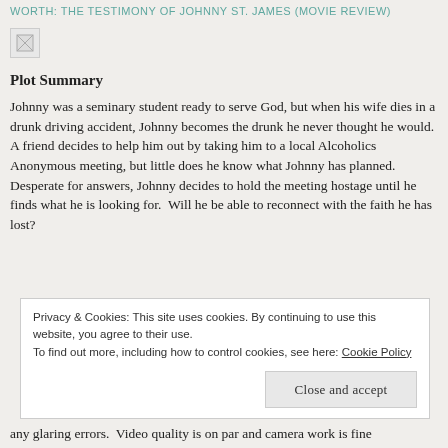WORTH: THE TESTIMONY OF JOHNNY ST. JAMES (MOVIE REVIEW)
[Figure (photo): Broken/missing image placeholder icon]
Plot Summary
Johnny was a seminary student ready to serve God, but when his wife dies in a drunk driving accident, Johnny becomes the drunk he never thought he would.  A friend decides to help him out by taking him to a local Alcoholics Anonymous meeting, but little does he know what Johnny has planned.  Desperate for answers, Johnny decides to hold the meeting hostage until he finds what he is looking for.  Will he be able to reconnect with the faith he has lost?
Privacy & Cookies: This site uses cookies. By continuing to use this website, you agree to their use.
To find out more, including how to control cookies, see here: Cookie Policy
[Close and accept]
any glaring errors.  Video quality is on par and camera work is fine